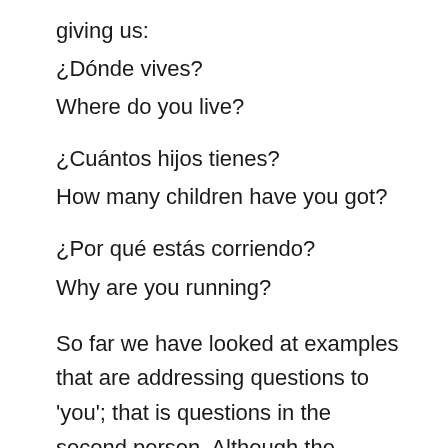giving us:
¿Dónde vives?
Where do you live?
¿Cuántos hijos tienes?
How many children have you got?
¿Por qué estás corriendo?
Why are you running?
So far we have looked at examples that are addressing questions to 'you'; that is questions in the second person. Although the structure might seem very easy, we need to keep it in mind to move on to asking questions in the third person, about 'he' or 'she'. We will look at that next month and hopefully I'll also have enough room for some more Spanish to